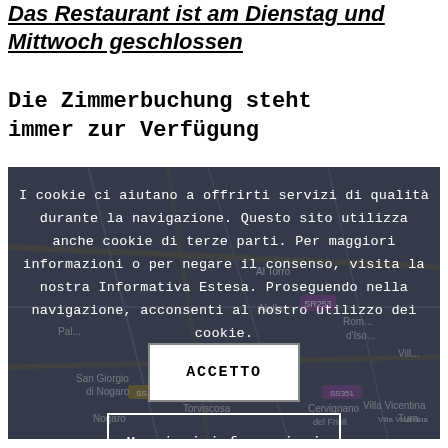Das Restaurant ist am Dienstag und Mittwoch geschlossen
Die Zimmerbuchung steht immer zur Verfügung
[Figure (map): Dark map overlay showing a region of northern Italy (Friuli-Venezia Giulia area) with town names including Al Toro, Aiello, San Giorgio di Nogaro, Nogaro, Torviscosa, Cervignano del Friuli, Villa Vicentina, Romano d'Isonzo. Cookie consent dialog overlay on top of the map.]
I cookie ci aiutano a offrirti servizi di qualità durante la navigazione. Questo sito utilizza anche cookie di terze parti. Per maggiori informazioni o per negare il consenso, visita la nostra Informativa Estesa. Proseguendo nella navigazione, acconsenti al nostro utilizzo dei cookie.
ACCETTO
Maggiori informazioni